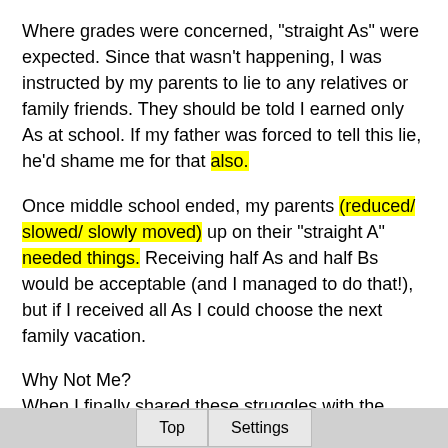Where grades were concerned, "straight As" were expected. Since that wasn't happening, I was instructed by my parents to lie to any relatives or family friends. They should be told I earned only As at school. If my father was forced to tell this lie, he'd shame me for that also.
Once middle school ended, my parents (reduced/ slowed/ slowly moved) up on their "straight A" needed things. Receiving half As and half Bs would be acceptable (and I managed to do that!), but if I received all As I could choose the next family vacation.
Why Not Me?
When I finally shared these struggles with the therapist who (identified a disease or its cause) me with ADHD and high-functioning autism at the age of 25, she said the signs were brightly/extremely obvious. I agreed. Why then, did it take so long for me to receive an (identification of a disease or
Top   Settings